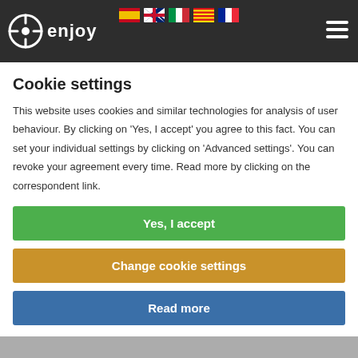enjoy [logo] — navigation header with language flags (ES, EN, IT, CA, FR) and hamburger menu
from the own motor or external power on, controlled locally or from anywhere else, with a smartphone or tablet (Android or iOS), through the IHG hub. Also compatible with Alexa and Google Home
Cookie settings
This website uses cookies and similar technologies for analysis of user behaviour. By clicking on 'Yes, I accept' you agree to this fact. You can set your individual settings by clicking on 'Advanced settings'. You can revoke your agreement every time. Read more by clicking on the correspondent link.
Yes, I accept
Change cookie settings
Read more